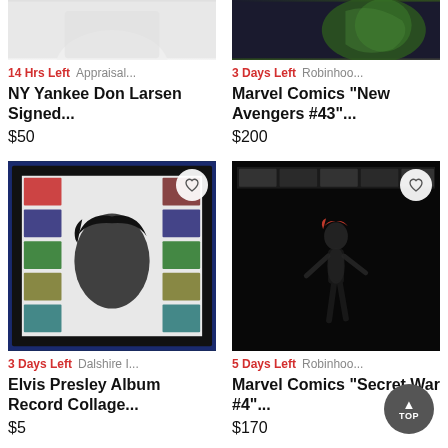[Figure (photo): NY Yankee Don Larsen signed item - partial image visible at top, grey/white clothing]
14 Hrs Left  Appraisal...
NY Yankee Don Larsen Signed...
$50
[Figure (photo): Marvel Comics New Avengers #43 - dark green hulk-like character]
3 Days Left  Robinhoo...
Marvel Comics "New Avengers #43"...
$200
[Figure (photo): Elvis Presley Album Record Collage - framed artwork with Elvis silhouette and album covers]
3 Days Left  Dalshire I...
Elvis Presley Album Record Collage...
$5
[Figure (photo): Marvel Comics Secret War #4 - Black Widow character in black suit on dark background]
5 Days Left  Robinhoo...
Marvel Comics "Secret War #4"...
$170